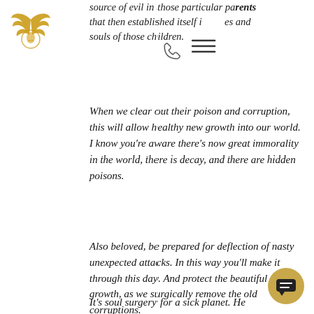[Figure (logo): Gold and black stylized bird/phoenix logo with circular emblem]
source of evil in those particular parents that then established itself i… …es and souls of those children.
[Figure (other): Phone handset icon]
[Figure (other): Hamburger menu icon (three horizontal lines)]
When we clear out their poison and corruption, this will allow healthy new growth into our world. I know you're aware there's now great immorality in the world, there is decay, and there are hidden poisons.
Also beloved, be prepared for deflection of nasty unexpected attacks. In this way you'll make it through this day. And protect the beautiful new growth, as we surgically remove the old corruptions.
It's soul surgery for a sick planet. He… surgery for a broken world. We're finding
[Figure (other): Gold chat bubble button in bottom right corner]